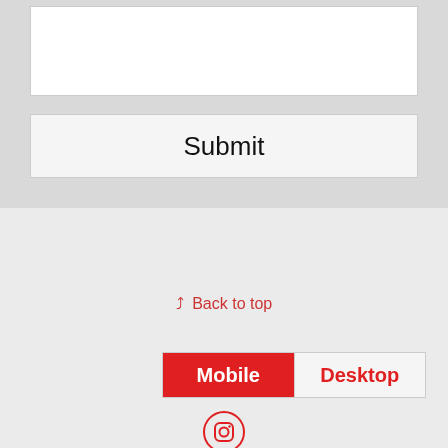[Figure (screenshot): A form area with a white text input box and a Submit button, on a light gray background]
Back to top
[Figure (screenshot): A tab switcher with 'Mobile' tab active (red background, white text) and 'Desktop' tab inactive (light gray background, red text)]
[Figure (logo): Instagram icon in a circle, rendered in red outline]